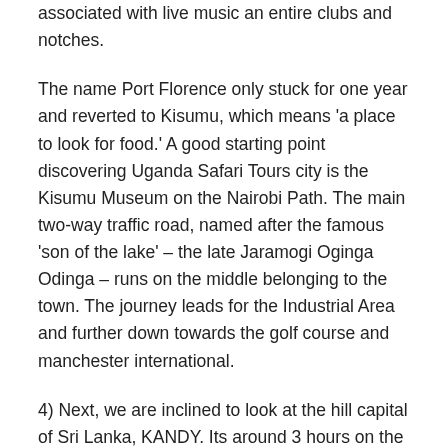associated with live music an entire clubs and notches.
The name Port Florence only stuck for one year and reverted to Kisumu, which means ‘a place to look for food.’ A good starting point discovering Uganda Safari Tours city is the Kisumu Museum on the Nairobi Path. The main two-way traffic road, named after the famous ‘son of the lake’ – the late Jaramogi Oginga Odinga – runs on the middle belonging to the town. The journey leads for the Industrial Area and further down towards the golf course and manchester international.
4) Next, we are inclined to look at the hill capital of Sri Lanka, KANDY. Its around 3 hours on the journey but the trip end up being worth. There you’ll experience a different climate when compared previous two destinations as it’s ambient temperature sets around 20-22C. Uganda Safaris Tours for this last king of Sri Lanka and home towards the Sacred Temple of really. I suggest you visit Kandy in August since it